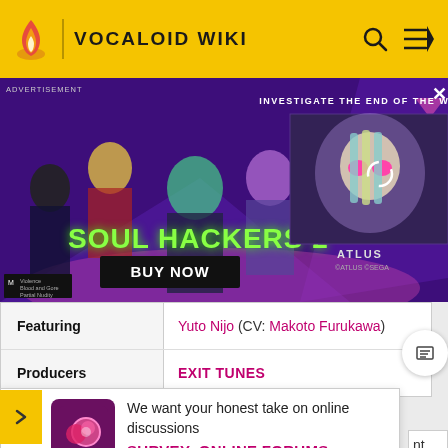VOCALOID WIKI
[Figure (photo): Advertisement banner for Soul Hackers 2 game by Atlus/Sega. Shows anime-style characters with text 'SOUL HACKERS 2', 'BUY NOW', 'INVESTIGATE THE END OF THE WORLD', ATLUS logo, ESRB M rating. Purple background.]
[Figure (other): Music note thumbnail placeholder in gray]
|  |  |
| --- | --- |
| Featuring | Yuto Nijo (CV: Makoto Furukawa) |
| Producers | EXIT TUNES |
We want your honest take on online discussions
SURVEY: ONLINE FORUMS